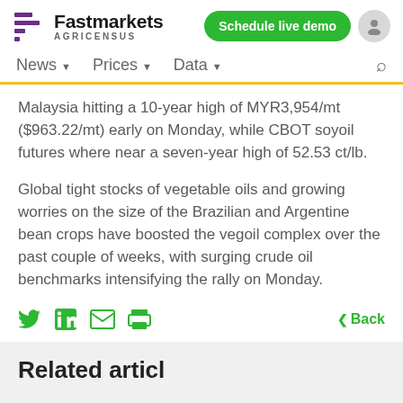[Figure (logo): Fastmarkets Agricensus logo with purple icon bars and bold text]
Schedule live demo
News  Prices  Data
Malaysia hitting a 10-year high of MYR3,954/mt ($963.22/mt) early on Monday, while CBOT soyoil futures where near a seven-year high of 52.53 ct/lb.
Global tight stocks of vegetable oils and growing worries on the size of the Brazilian and Argentine bean crops have boosted the vegoil complex over the past couple of weeks, with surging crude oil benchmarks intensifying the rally on Monday.
Back
Related articles